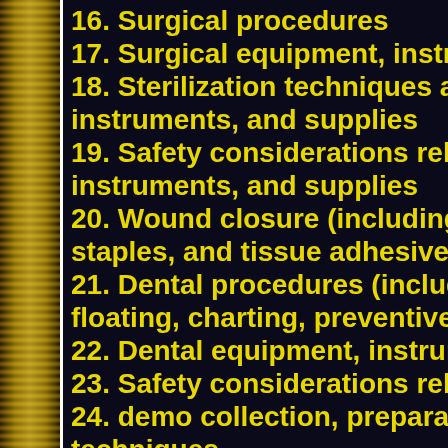16. Surgical procedures
17. Surgical equipment, instru…
18. Sterilization techniques and instruments, and supplies
19. Safety considerations relate instruments, and supplies
20. Wound closure (including su staples, and tissue adhesives)
21. Dental procedures (includin floating, charting, preventive p…
22. Dental equipment, instrume…
23. Safety considerations relate…
24. demo collection, preparatio techniques
25. Laboratory diagnostic princ methodologies (including but n… serology, cytology, hematology…